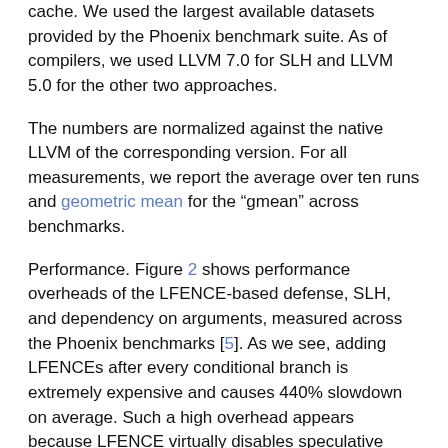cache. We used the largest available datasets provided by the Phoenix benchmark suite. As of compilers, we used LLVM 7.0 for SLH and LLVM 5.0 for the other two approaches.
The numbers are normalized against the native LLVM of the corresponding version. For all measurements, we report the average over ten runs and geometric mean for the “gmean” across benchmarks.
Performance. Figure 2 shows performance overheads of the LFENCE-based defense, SLH, and dependency on arguments, measured across the Phoenix benchmarks [5]. As we see, adding LFENCEs after every conditional branch is extremely expensive and causes 440% slowdown on average. Such a high overhead appears because LFENCE virtually disables speculative execution. As Figure 3 shows, the application cannot use the available instruction-level parallelism to its full extent: With the LFENCEs, the average number of instructions per cycle (IPC) drops from ~2.3 to